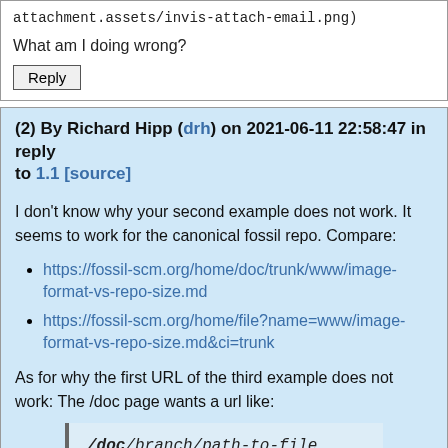attachment.assets/invis-attach-email.png)
What am I doing wrong?
Reply
(2) By Richard Hipp (drh) on 2021-06-11 22:58:47 in reply to 1.1 [source]
I don't know why your second example does not work. It seems to work for the canonical fossil repo. Compare:
https://fossil-scm.org/home/doc/trunk/www/image-format-vs-repo-size.md
https://fossil-scm.org/home/file?name=www/image-format-vs-repo-size.md&ci=trunk
As for why the first URL of the third example does not work: The /doc page wants a url like:
You seem to be leaving out the branch.